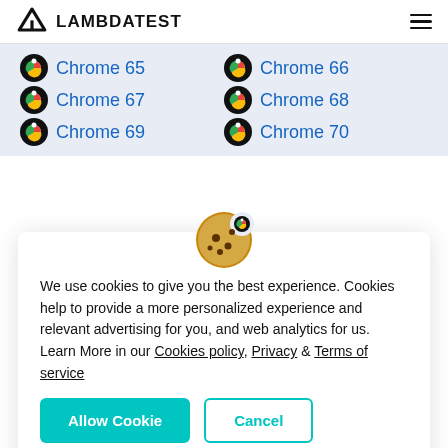LAMBDATEST
Chrome 65
Chrome 66
Chrome 67
Chrome 68
Chrome 69
Chrome 70
[Figure (other): Cookie emoji icon]
We use cookies to give you the best experience. Cookies help to provide a more personalized experience and relevant advertising for you, and web analytics for us. Learn More in our Cookies policy, Privacy & Terms of service
Allow Cookie | Cancel